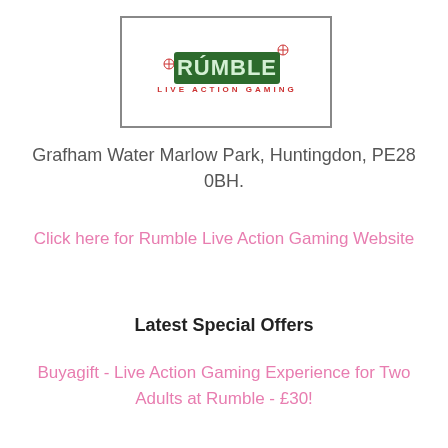[Figure (logo): Rumble Live Action Gaming logo — green bold 'RUMBLE' text with red 'LIVE ACTION GAMING' subtitle, inside a black-bordered box]
Grafham Water Marlow Park, Huntingdon, PE28 0BH.
Click here for Rumble Live Action Gaming Website
Latest Special Offers
Buyagift - Live Action Gaming Experience for Two Adults at Rumble - £30!